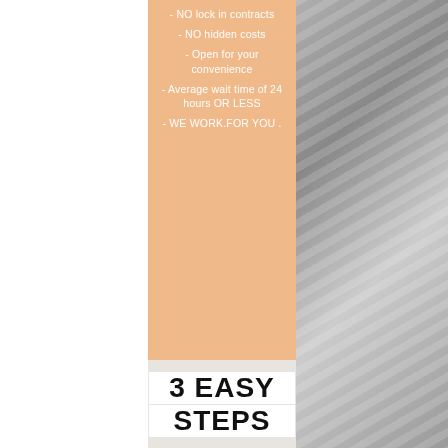- NO lock in contracts
- NO hidden costs
- Open for your convenience
- Average wait time of 24 hours OR LESS
- WE WORK.FOR YOU .
3 EASY STEPS